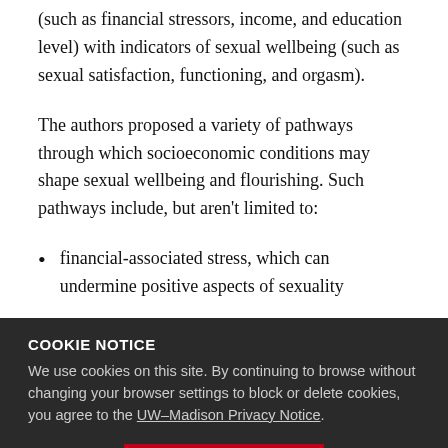(such as financial stressors, income, and education level) with indicators of sexual wellbeing (such as sexual satisfaction, functioning, and orgasm).
The authors proposed a variety of pathways through which socioeconomic conditions may shape sexual wellbeing and flourishing. Such pathways include, but aren't limited to:
financial-associated stress, which can undermine positive aspects of sexuality
COOKIE NOTICE
We use cookies on this site. By continuing to browse without changing your browser settings to block or delete cookies, you agree to the UW–Madison Privacy Notice.
expectations for enjoyable sexual experiences, which can be undermined by …